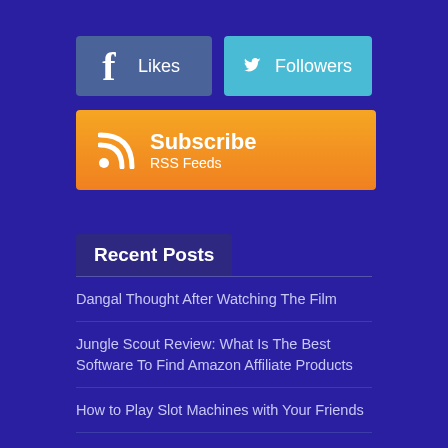[Figure (infographic): Facebook Likes button with blue background and Facebook f icon]
[Figure (infographic): Twitter Followers button with light blue background and Twitter bird icon]
[Figure (infographic): Subscribe RSS Feeds button with orange gradient background and RSS icon]
Recent Posts
Dangal Thought After Watching The Film
Jungle Scout Review: What Is The Best Software To Find Amazon Affiliate Products
How to Play Slot Machines with Your Friends
How to Create Your Own Webbografi (Webography): A Guide for Entrepreneurs and Small Businesses